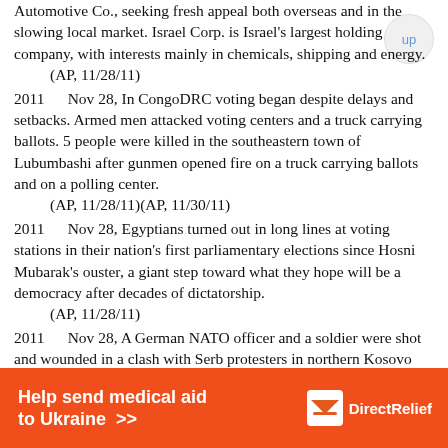Automotive Co., seeking fresh appeal both overseas and in the slowing local market. Israel Corp. is Israel's largest holding company, with interests mainly in chemicals, shipping and energy.
(AP, 11/28/11)
2011      Nov 28, In CongoDRC voting began despite delays and setbacks. Armed men attacked voting centers and a truck carrying ballots. 5 people were killed in the southeastern town of Lubumbashi after gunmen opened fire on a truck carrying ballots and on a polling center.
(AP, 11/28/11)(AP, 11/30/11)
2011      Nov 28, Egyptians turned out in long lines at voting stations in their nation's first parliamentary elections since Hosni Mubarak's ouster, a giant step toward what they hope will be a democracy after decades of dictatorship.
(AP, 11/28/11)
2011      Nov 28, A German NATO officer and a soldier were shot and wounded in a clash with Serb protesters in northern Kosovo after the military alliance's troops used heavy machinery
[Figure (other): Orange banner advertisement: 'Help send medical aid to Ukraine >>' with Direct Relief logo on the right side.]